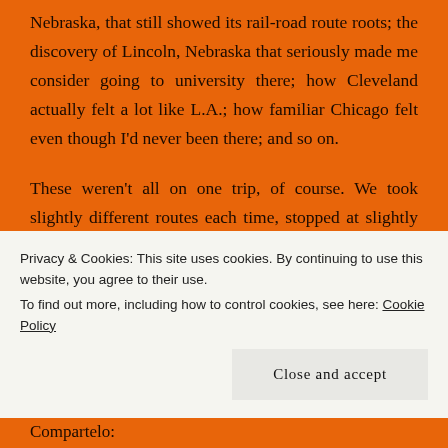Nebraska, that still showed its rail-road route roots; the discovery of Lincoln, Nebraska that seriously made me consider going to university there; how Cleveland actually felt a lot like L.A.; how familiar Chicago felt even though I'd never been there; and so on.

These weren't all on one trip, of course. We took slightly different routes each time, stopped at slightly different franchised roadside tourist traps (can you say Stuckey's?) but always stayed at
Privacy & Cookies: This site uses cookies. By continuing to use this website, you agree to their use.
To find out more, including how to control cookies, see here: Cookie Policy
Close and accept
Compartelo: